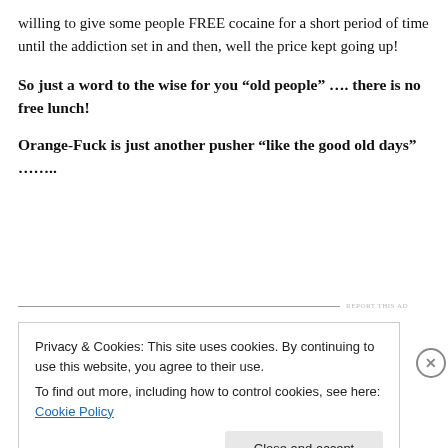willing to give some people FREE cocaine for a short period of time until the addiction set in and then, well the price kept going up!
So just a word to the wise for you “old people” …. there is no free lunch!
Orange-Fuck is just another pusher “like the good old days” ……..
Privacy & Cookies: This site uses cookies. By continuing to use this website, you agree to their use.
To find out more, including how to control cookies, see here: Cookie Policy